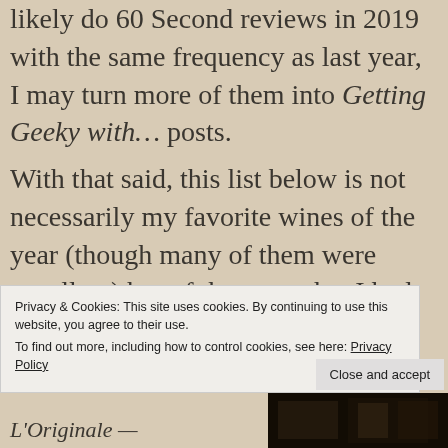likely do 60 Second reviews in 2019 with the same frequency as last year, I may turn more of them into Getting Geeky with… posts.
With that said, this list below is not necessarily my favorite wines of the year (though many of them were excellent) but of the posts that I had the most fun researching for the Geekery section.
With that...
Privacy & Cookies: This site uses cookies. By continuing to use this website, you agree to their use.
To find out more, including how to control cookies, see here: Privacy Policy
Close and accept
L'Originale —